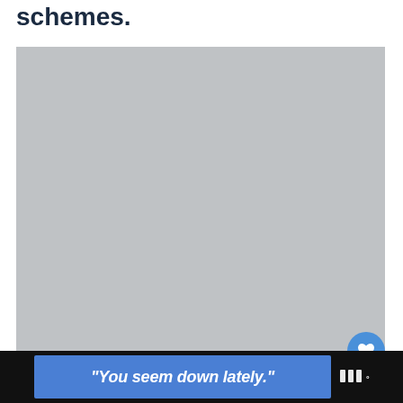schemes.
[Figure (photo): Large gray placeholder image area occupying most of the page]
"You seem down lately."